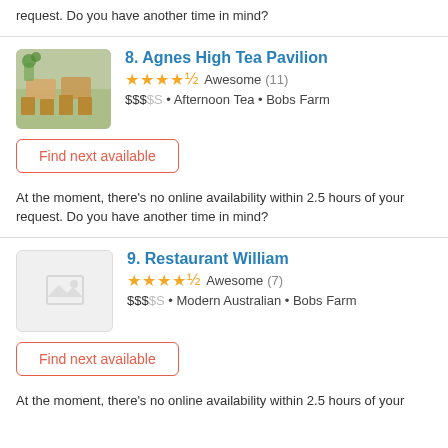request. Do you have another time in mind?
8. Agnes High Tea Pavilion
★★★★½ Awesome (11)
$$$$S • Afternoon Tea • Bobs Farm
Find next available
At the moment, there's no online availability within 2.5 hours of your request. Do you have another time in mind?
9. Restaurant William
★★★★½ Awesome (7)
$$$$S • Modern Australian • Bobs Farm
Find next available
At the moment, there's no online availability within 2.5 hours of your